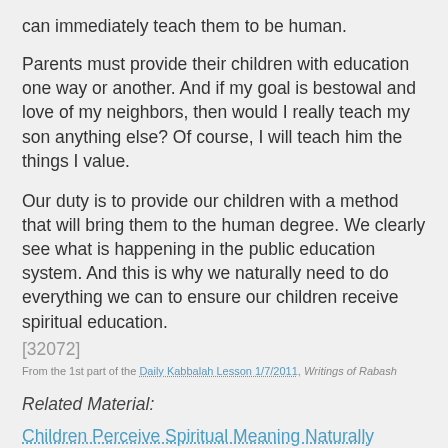can immediately teach them to be human.
Parents must provide their children with education one way or another. And if my goal is bestowal and love of my neighbors, then would I really teach my son anything else? Of course, I will teach him the things I value.
Our duty is to provide our children with a method that will bring them to the human degree. We clearly see what is happening in the public education system. And this is why we naturally need to do everything we can to ensure our children receive spiritual education.
[32072]
From the 1st part of the Daily Kabbalah Lesson 1/7/2011, Writings of Rabash
Related Material:
Children Perceive Spiritual Meaning Naturally
Children, Be Kind To The Teacher